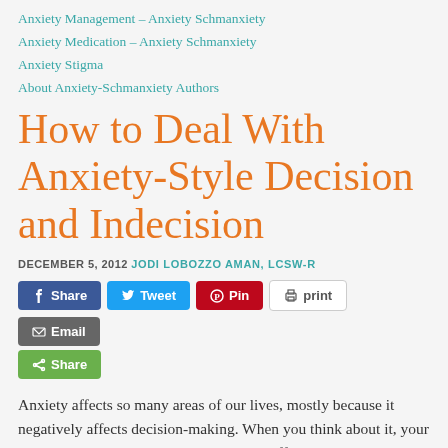Anxiety Management – Anxiety Schmanxiety
Anxiety Medication – Anxiety Schmanxiety
Anxiety Stigma
About Anxiety-Schmanxiety Authors
How to Deal With Anxiety-Style Decision and Indecision
DECEMBER 5, 2012 JODI LOBOZZO AMAN, LCSW-R
[Figure (other): Social sharing buttons: Facebook Share, Twitter Tweet, Pinterest Pin, Print, Email, and a generic Share button]
Anxiety affects so many areas of our lives, mostly because it negatively affects decision-making. When you think about it, your ability to make a decision, any decision, affects everything you do. Anxiety infuses confusion into our decision-making, and that makes all